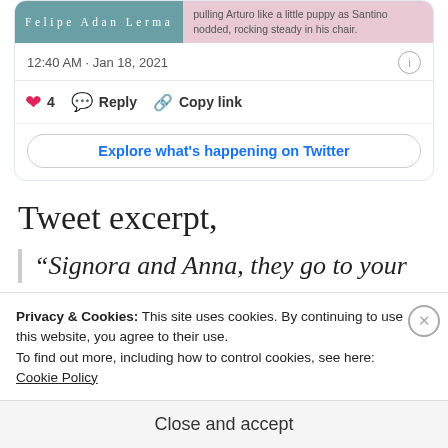[Figure (screenshot): Twitter/X tweet card showing user 'Felipe Adan Lerma' with teal name background and pink text excerpt area showing partial tweet text about pulling Arturo like a little puppy as Santino nodded, rocking steady in his chair. Below: timestamp 12:40 AM · Jan 18, 2021, like count of 4, Reply and Copy link actions, and Explore what's happening on Twitter button.]
Tweet excerpt,
“Signora and Anna, they go to your
Privacy & Cookies: This site uses cookies. By continuing to use this website, you agree to their use.
To find out more, including how to control cookies, see here:
Cookie Policy
Close and accept